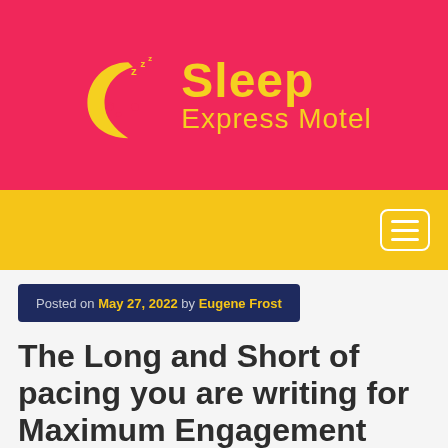[Figure (logo): Sleep Express Motel logo with yellow crescent moon and sleeping face on pink background, with 'Sleep Express Motel' text in yellow cursive]
Navigation bar with hamburger menu icon on yellow background
Posted on May 27, 2022 by Eugene Frost
The Long and Short of pacing you are writing for Maximum Engagement
To truly draw in your crowd, you need to pace your composition.